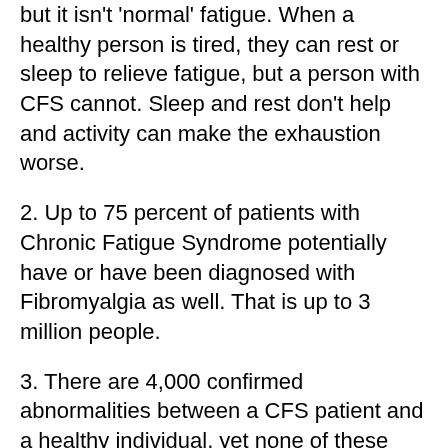but it isn't 'normal' fatigue. When a healthy person is tired, they can rest or sleep to relieve fatigue, but a person with CFS cannot. Sleep and rest don't help and activity can make the exhaustion worse.
2. Up to 75 percent of patients with Chronic Fatigue Syndrome potentially have or have been diagnosed with Fibromyalgia as well. That is up to 3 million people.
3. There are 4,000 confirmed abnormalities between a CFS patient and a healthy individual, yet none of these abnormalities have been identified as a cause or as a diagnostic marker.
4. 1-4 million people in the United States have CFS yet only 20 percent have been properly diagnosed with the illness and are receiving the proper treatment.